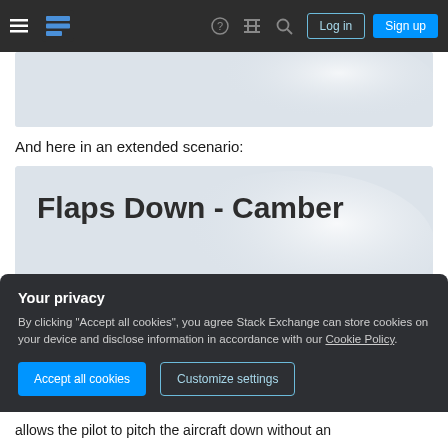Stack Exchange navigation bar with hamburger menu, logo, help, chat, search icons, Log in and Sign up buttons
[Figure (illustration): Partial bottom of an illustration/diagram from previous content, grey gradient background]
And here in an extended scenario:
[Figure (illustration): Diagram titled 'Flaps Down - Camber' showing a blue airfoil cross-section shape with a 'Camber Line' label and arrow pointing to a thin curved line through the airfoil]
Your privacy
By clicking "Accept all cookies", you agree Stack Exchange can store cookies on your device and disclose information in accordance with our Cookie Policy.
Accept all cookies   Customize settings
allows the pilot to pitch the aircraft down without an